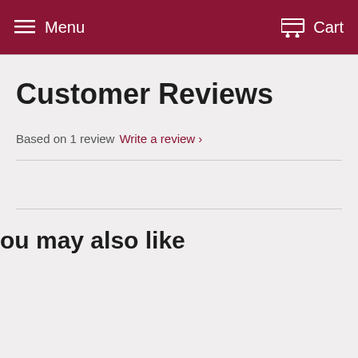Menu  Cart
Customer Reviews
Based on 1 review  Write a review ›
ou may also like